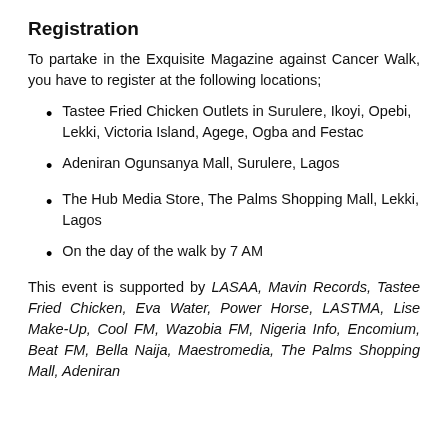Registration
To partake in the Exquisite Magazine against Cancer Walk, you have to register at the following locations;
Tastee Fried Chicken Outlets in Surulere, Ikoyi, Opebi, Lekki, Victoria Island, Agege, Ogba and Festac
Adeniran Ogunsanya Mall, Surulere, Lagos
The Hub Media Store, The Palms Shopping Mall, Lekki, Lagos
On the day of the walk by 7 AM
This event is supported by LASAA, Mavin Records, Tastee Fried Chicken, Eva Water, Power Horse, LASTMA, Lise Make-Up, Cool FM, Wazobia FM, Nigeria Info, Encomium, Beat FM, Bella Naija, Maestromedia, The Palms Shopping Mall, Adeniran